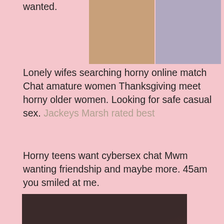[Figure (photo): Partial top image strip showing two cropped photos side by side on pink background]
Lonely wifes searching horny online match Chat amature women Thanksgiving meet horny older women. Looking for safe casual sex. Jackeys Marsh rated best
Horny teens want cybersex chat Mwm wanting friendship and maybe more. 45am you smiled at me.
[Figure (photo): Woman in black lingerie, partial torso shot]
[Figure (photo): Woman in dark clothing seated, legs visible]